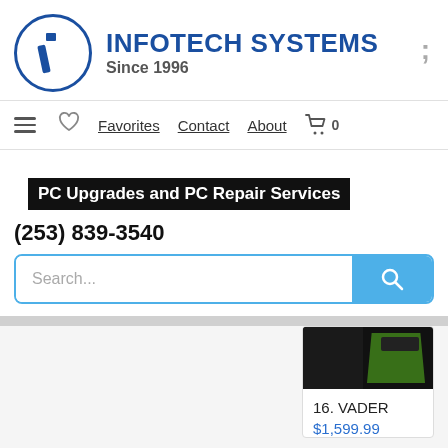[Figure (logo): Infotech Systems logo: blue circle with stylized italic 'i' icon, company name 'INFOTECH SYSTEMS' in bold blue, 'Since 1996' in gray beneath]
Favorites  Contact  About  0
PC Upgrades and PC Repair Services
(253) 839-3540
[Figure (screenshot): Search bar with placeholder 'Search...' and blue search button with magnifying glass icon]
16. VADER
$1,599.99